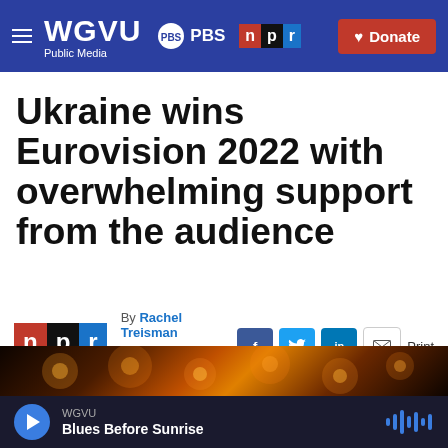WGVU Public Media | PBS | npr | Donate
Ukraine wins Eurovision 2022 with overwhelming support from the audience
By Rachel Treisman
Published May 13, 2022 at 8:06 PM EDT
[Figure (photo): Partial view of a dark image with golden bokeh lights, appearing to be a concert or event photo]
WGVU
Blues Before Sunrise